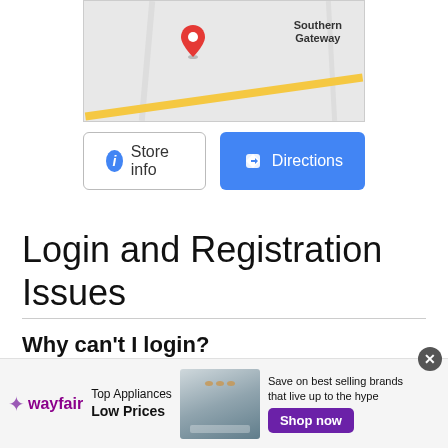[Figure (screenshot): Google Maps snippet showing Southern Gateway location with a red pin marker, plus Store info and Directions buttons below the map]
Login and Registration Issues
Why can't I login?
There are several reasons why this could occur. First, ensure your username and password
[Figure (screenshot): Wayfair advertisement banner: Top Appliances Low Prices, Save on best selling brands that live up to the hype, Shop now button]